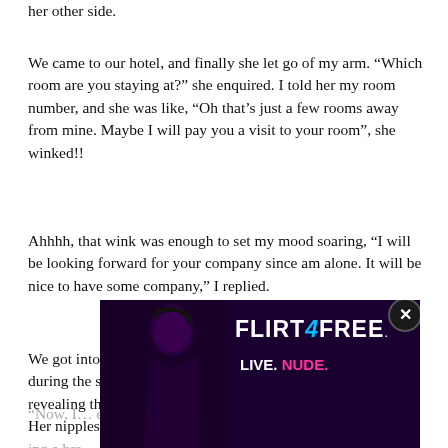her other side.
We came to our hotel, and finally she let go of my arm. “Which room are you staying at?” she enquired. I told her my room number, and she was like, “Oh that’s just a few rooms away from mine. Maybe I will pay you a visit to your room”, she winked!!
Ahhhh, that wink was enough to set my mood soaring, “I will be looking forward for your company since am alone. It will be nice to have some company,” I replied.
We got into the lift. There was a big sexual tension between us during the short travel time in the lift. She took off her jacket revealing that she was a wearing a very thin white shirt inside. Her nipples were hard because of the cold, so I was able to s…ing a bra.
[Figure (screenshot): Advertisement overlay for Flirt4Free showing a woman in dark clothing with text FLIRT4FREE and LIVE. NUDE.]
“Now, I… e out walking…